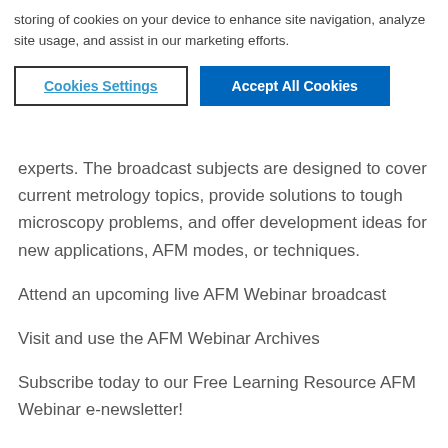storing of cookies on your device to enhance site navigation, analyze site usage, and assist in our marketing efforts.
Cookies Settings
Accept All Cookies
experts. The broadcast subjects are designed to cover current metrology topics, provide solutions to tough microscopy problems, and offer development ideas for new applications, AFM modes, or techniques.
Attend an upcoming live AFM Webinar broadcast
Visit and use the AFM Webinar Archives
Subscribe today to our Free Learning Resource AFM Webinar e-newsletter!